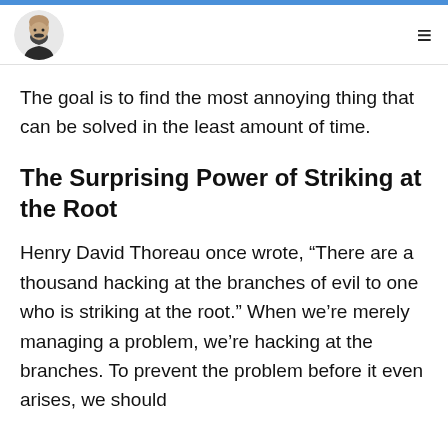The goal is to find the most annoying thing that can be solved in the least amount of time.
The Surprising Power of Striking at the Root
Henry David Thoreau once wrote, “There are a thousand hacking at the branches of evil to one who is striking at the root.” When we’re merely managing a problem, we’re hacking at the branches. To prevent the problem before it even arises, we should